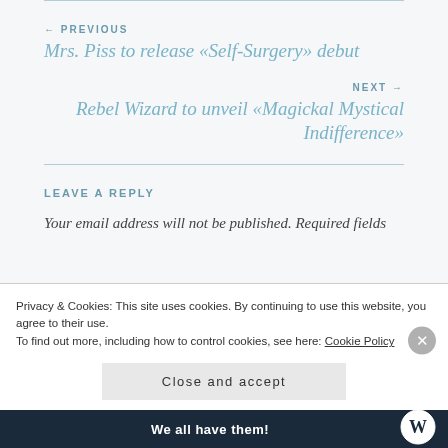← PREVIOUS
Mrs. Piss to release «Self-Surgery» debut
NEXT →
Rebel Wizard to unveil «Magickal Mystical Indifference»
LEAVE A REPLY
Your email address will not be published. Required fields
Privacy & Cookies: This site uses cookies. By continuing to use this website, you agree to their use.
To find out more, including how to control cookies, see here: Cookie Policy
Close and accept
We all have them!